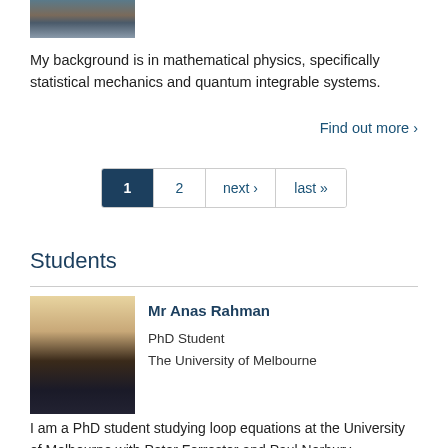[Figure (photo): Partial photo of a person, cropped at top of page]
My background is in mathematical physics, specifically statistical mechanics and quantum integrable systems.
Find out more ›
[Figure (other): Pagination bar with page 1 active, page 2, next ›, last »]
Students
[Figure (photo): Headshot of Mr Anas Rahman, a young man smiling against a beige wall]
Mr Anas Rahman
PhD Student
The University of Melbourne
I am a PhD student studying loop equations at the University of Melbourne with Peter Forrester and Paul Norbury.